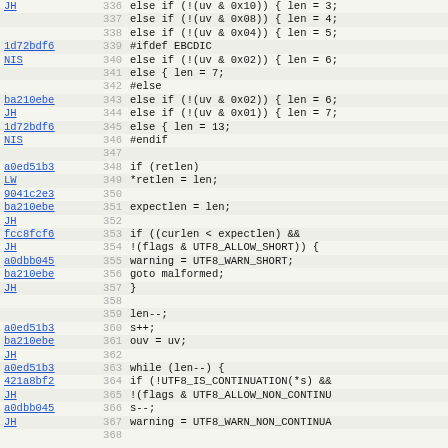| commit | line | code |
| --- | --- | --- |
| JH | 336 | else if (!(uv & 0x10))          { len = 3; |
|  | 337 | else if (!(uv & 0x08))          { len = 4; |
|  | 338 | else if (!(uv & 0x04))          { len = 5; |
| 1d72bdf6 | 339 | #ifdef EBCDIC |
| NIS | 340 |     else if (!(uv & 0x02))          { len = 6; |
|  | 341 |     else                              { len = 7; |
|  | 342 | #else |
| ba210ebe | 343 |     else if (!(uv & 0x02))          { len = 6; |
| JH | 344 |     else if (!(uv & 0x01))          { len = 7; |
| 1d72bdf6 | 345 |     else                            { len = 13; |
| NIS | 346 | #endif |
|  | 347 |  |
| a0ed51b3 | 348 |     if (retlen) |
| LW | 349 |         *retlen = len; |
| 9041c2e3 | 350 |  |
| ba210ebe | 351 |     expectlen = len; |
| JH | 352 |  |
| fcc8fcf6 | 353 |     if ((curlen < expectlen) && |
| JH | 354 |             !(flags & UTF8_ALLOW_SHORT)) { |
| a0dbb045 | 355 |         warning = UTF8_WARN_SHORT; |
| ba210ebe | 356 |         goto malformed; |
| JH | 357 |     } |
|  | 358 |  |
|  | 359 |     len--; |
| a0ed51b3 | 360 |     s++; |
| ba210ebe | 361 |     ouv = uv; |
| JH | 362 |  |
| a0ed51b3 | 363 |     while (len--) { |
| 421a8bf2 | 364 |         if (!UTF8_IS_CONTINUATION(*s) && |
| JH | 365 |             !(flags & UTF8_ALLOW_NON_CONTINU |
| a0dbb045 | 366 |             s--; |
| JH | 367 |             warning = UTF8_WARN_NON_CONTINUA |
|  | 368 |  |